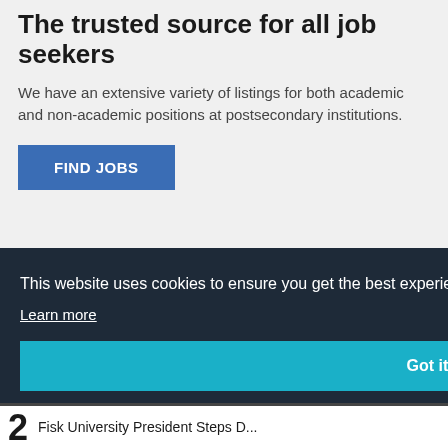The trusted source for all job seekers
We have an extensive variety of listings for both academic and non-academic positions at postsecondary institutions.
FIND JOBS
This website uses cookies to ensure you get the best experience on our website.
Learn more
Got it!
T
ustry
2